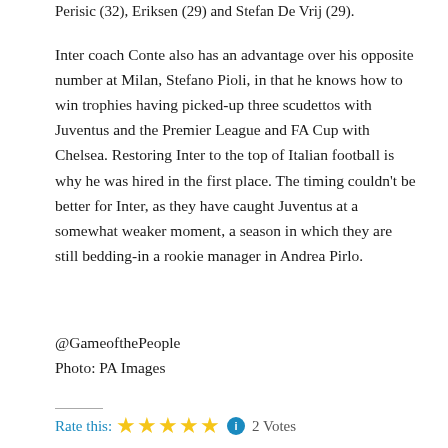Perisic (32), Eriksen (29) and Stefan De Vrij (29).
Inter coach Conte also has an advantage over his opposite number at Milan, Stefano Pioli, in that he knows how to win trophies having picked-up three scudettos with Juventus and the Premier League and FA Cup with Chelsea. Restoring Inter to the top of Italian football is why he was hired in the first place. The timing couldn't be better for Inter, as they have caught Juventus at a somewhat weaker moment, a season in which they are still bedding-in a rookie manager in Andrea Pirlo.
@GameofthePeople
Photo: PA Images
Rate this: ★★★★★ ℹ 2 Votes